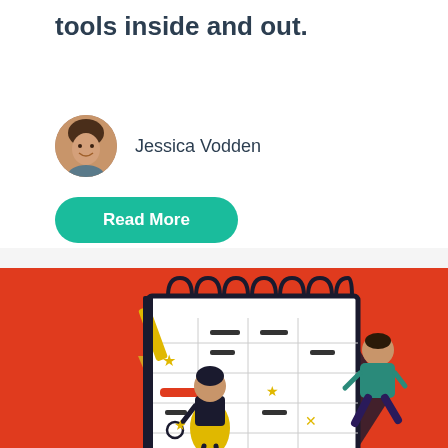tools inside and out.
Jessica Vodden
Read More
[Figure (illustration): Illustration on orange/red background showing two cartoon people with a large desk calendar/planner. A woman in black top and yellow skirt holds a gold star, standing to the left. A man in teal shirt sits on the right side of the large calendar which shows stars, red bars, and grid lines. The calendar has dark coil binding at the top.]